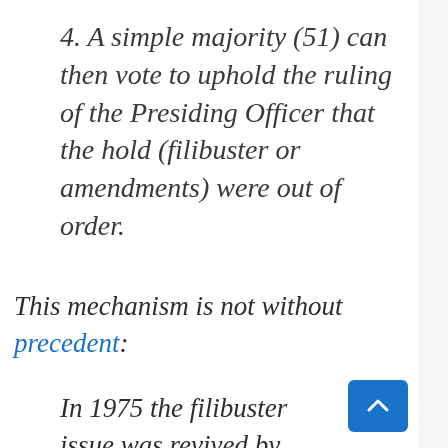4. A simple majority (51) can then vote to uphold the ruling of the Presiding Officer that the hold (filibuster or amendments) were out of order.
This mechanism is not without precedent:
In 1975 the filibuster issue was revived by post-Watergate